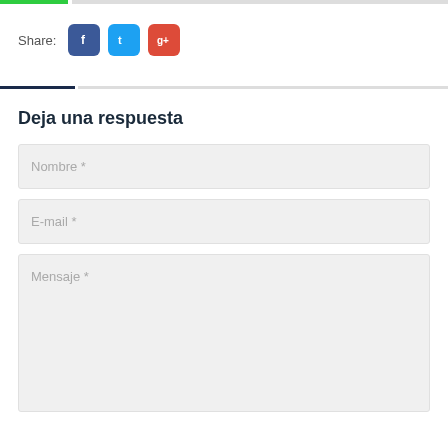[Figure (other): Top decorative rule with green segment followed by gray segment]
Share:
[Figure (other): Social share buttons: Facebook (blue), Twitter (light blue), Google+ (red)]
[Figure (other): Middle decorative rule with dark navy segment followed by gray segment]
Deja una respuesta
Nombre *
E-mail *
Mensaje *